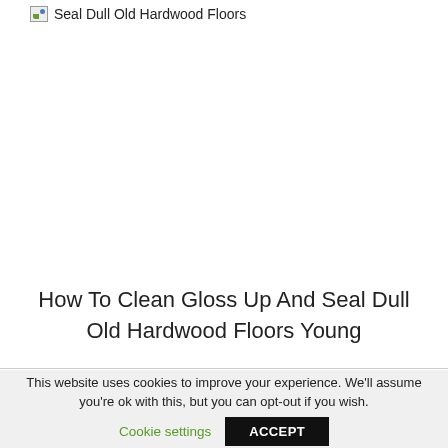[Figure (photo): Broken image placeholder with alt text 'Seal Dull Old Hardwood Floors' and small broken image icon]
How To Clean Gloss Up And Seal Dull Old Hardwood Floors Young
This website uses cookies to improve your experience. We'll assume you're ok with this, but you can opt-out if you wish.
Cookie settings  ACCEPT